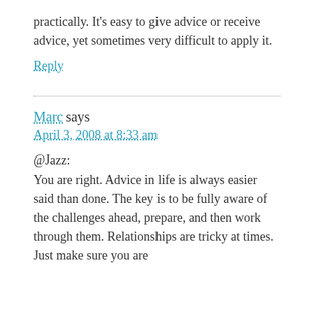practically. It's easy to give advice or receive advice, yet sometimes very difficult to apply it.
Reply
Marc says
April 3, 2008 at 8:33 am
@Jazz:
You are right. Advice in life is always easier said than done. The key is to be fully aware of the challenges ahead, prepare, and then work through them. Relationships are tricky at times. Just make sure you are